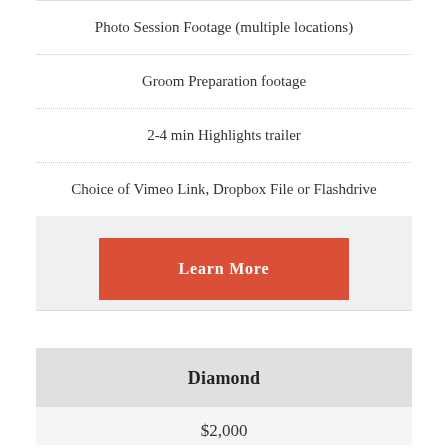Photo Session Footage (multiple locations)
Groom Preparation footage
2-4 min Highlights trailer
Choice of Vimeo Link, Dropbox File or Flashdrive
Learn More
Diamond
$2,000+